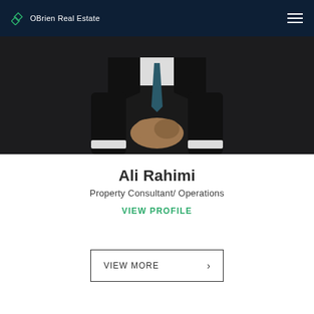OBrien Real Estate
[Figure (photo): Professional man in dark suit with hands clasped, cropped to show torso and hands, dark background]
Ali Rahimi
Property Consultant/ Operations
VIEW PROFILE
VIEW MORE